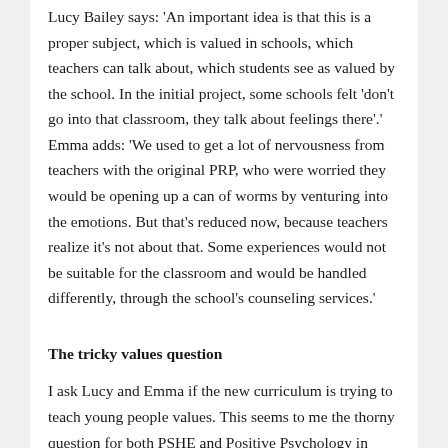Lucy Bailey says: 'An important idea is that this is a proper subject, which is valued in schools, which teachers can talk about, which students see as valued by the school. In the initial project, some schools felt 'don't go into that classroom, they talk about feelings there'.' Emma adds: 'We used to get a lot of nervousness from teachers with the original PRP, who were worried they would be opening up a can of worms by venturing into the emotions. But that's reduced now, because teachers realize it's not about that. Some experiences would not be suitable for the classroom and would be handled differently, through the school's counseling services.'
The tricky values question
I ask Lucy and Emma if the new curriculum is trying to teach young people values. This seems to me the thorny question for both PSHE and Positive Psychology in schools. On the one hand, they are attempts to help young people to flourish. On the other hand, there is an understandable nervousness about state schools promoting a particular ethical vision of the good life